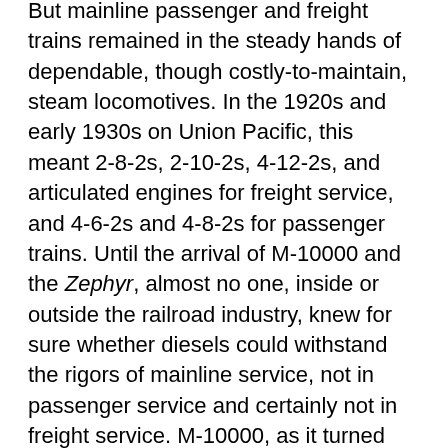But mainline passenger and freight trains remained in the steady hands of dependable, though costly-to-maintain, steam locomotives. In the 1920s and early 1930s on Union Pacific, this meant 2-8-2s, 2-10-2s, 4-12-2s, and articulated engines for freight service, and 4-6-2s and 4-8-2s for passenger trains. Until the arrival of M-10000 and the Zephyr, almost no one, inside or outside the railroad industry, knew for sure whether diesels could withstand the rigors of mainline service, not in passenger service and certainly not in freight service. M-10000, as it turned out, became the first in UP's fleet of passenger trains to which it gave the signature name "Streamliner."
During the late 1930s and early 1940s, Union Pacific management, in both the corporate and mechanical departments, became convinced that diesels could handle the more visible, yet lighter-duty, passenger trains, and they found that colorful, comfortable, fast new passenger trains were popular with the public. But they were equally convinced that only more and larger steam locomotives could meet the road's need